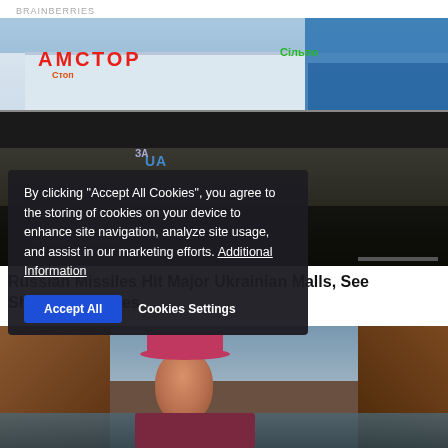BRAINBERRIES
[Figure (photo): Shopping mall with АМСТОР sign in daylight; below it, a burned/destroyed building with smoke damage]
By clicking "Accept All Cookies", you agree to the storing of cookies on your device to enhance site navigation, analyze site usage, and assist in our marketing efforts. Additional Information
Accept All   Cookies Settings
Russian Missiles Hit Major Ukrainian Malls, See Shocking Images
[Figure (photo): Woman with pink hat near water and red rock canyon]